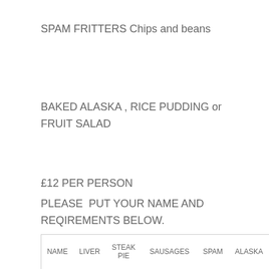SPAM FRITTERS Chips and beans
BAKED ALASKA , RICE PUDDING or FRUIT SALAD
£12 PER PERSON
PLEASE  PUT YOUR NAME AND REQIREMENTS BELOW.
| NAME | LIVER | STEAK PIE | SAUSAGES | SPAM | ALASKA |
| --- | --- | --- | --- | --- | --- |